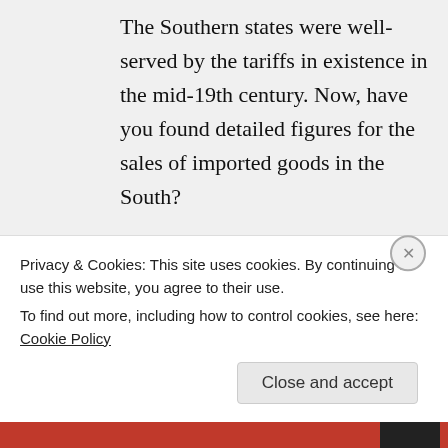The Southern states were well-served by the tariffs in existence in the mid-19th century. Now, have you found detailed figures for the sales of imported goods in the South?
↪ Reply
Craig Swain on February 25, 2013 at
Privacy & Cookies: This site uses cookies. By continuing to use this website, you agree to their use.
To find out more, including how to control cookies, see here: Cookie Policy